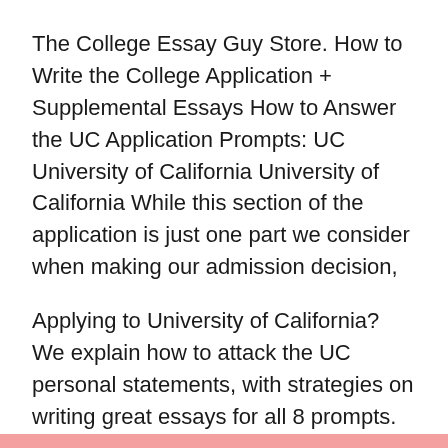The College Essay Guy Store. How to Write the College Application + Supplemental Essays How to Answer the UC Application Prompts: UC University of California University of California While this section of the application is just one part we consider when making our admission decision,
Applying to University of California? We explain how to attack the UC personal statements, with strategies on writing great essays for all 8 prompts. What Is a Personal Statement? Everything You Need to Know Want to write the perfect college application essay? the University of California application,